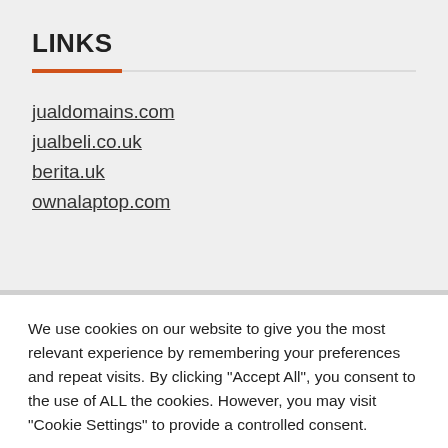LINKS
jualdomains.com
jualbeli.co.uk
berita.uk
ownalaptop.com
We use cookies on our website to give you the most relevant experience by remembering your preferences and repeat visits. By clicking "Accept All", you consent to the use of ALL the cookies. However, you may visit "Cookie Settings" to provide a controlled consent.
Cookie Settings | Accept All